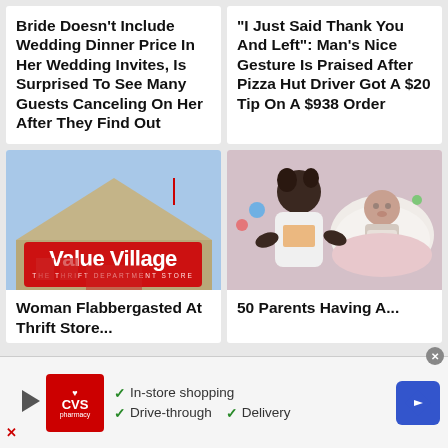Bride Doesn't Include Wedding Dinner Price In Her Wedding Invites, Is Surprised To See Many Guests Canceling On Her After They Find Out
"I Just Said Thank You And Left": Man's Nice Gesture Is Praised After Pizza Hut Driver Got A $20 Tip On A $938 Order
[Figure (photo): Exterior photo of a Value Village thrift department store building with tan/beige siding and red Value Village sign]
[Figure (photo): A young black girl in a white shirt leaning over a baby lying in a white infant bouncer/rocker]
Woman Flabbergasted At Thrift Store...
50 Parents Having A...
[Figure (screenshot): CVS Pharmacy advertisement banner showing: In-store shopping, Drive-through, Delivery with CVS logo and blue navigation arrow]